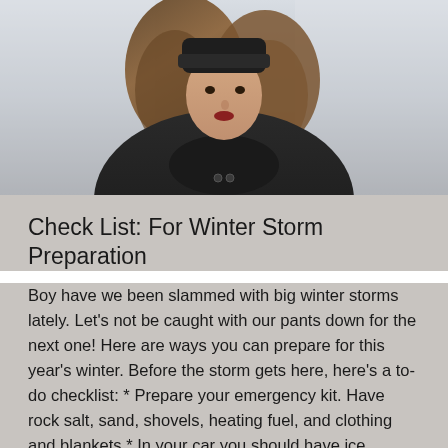[Figure (photo): A woman wearing a black winter coat and dark knit hat, with long brown hair, photographed against a light gray/foggy background. She appears cold and is looking at the camera.]
Check List: For Winter Storm Preparation
Boy have we been slammed with big winter storms lately. Let's not be caught with our pants down for the next one! Here are ways you can prepare for this year's winter. Before the storm gets here, here's a to-do checklist: * Prepare your emergency kit. Have rock salt, sand, shovels, heating fuel, and clothing and blankets * In your car you should have ice scrapers, snow brush, a shovel, blanket, flares, and a flashlight and extra batteries